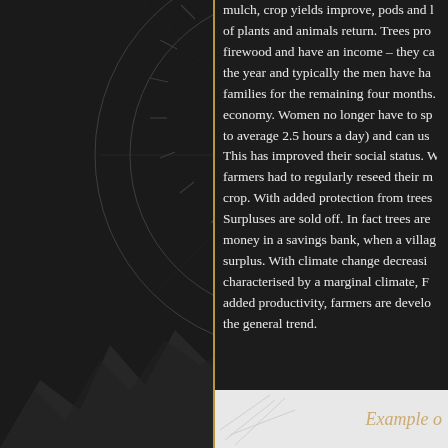[Figure (illustration): Dark background left panel with gear/cog wheel technical diagram overlay and mountain silhouette at the bottom, separated from the text by a vertical gold/amber divider line.]
mulch, crop yields improve, pods and leaves of plants and animals return. Trees pro... firewood and have an income – they ca... the year and typically the men have ha... families for the remaining four months. economy. Women no longer have to sp... to average 2.5 hours a day) and can us... This has improved their social status. W... farmers had to regularly reseed their m... crop. With added protection from trees... Surpluses are sold off. In fact trees are... money in a savings bank, when a villag... surplus. With climate change decreasi... characterised by a marginal climate, F... added productivity, farmers are develo... the general trend.
[Figure (other): Example caption box at bottom right, light/white background with italic gold text reading 'Example o...' and faint line sketch illustration on the left side.]